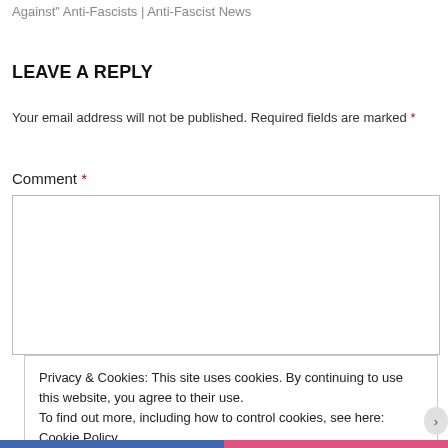Against" Anti-Fascists | Anti-Fascist News
LEAVE A REPLY
Your email address will not be published. Required fields are marked *
Comment *
Privacy & Cookies: This site uses cookies. By continuing to use this website, you agree to their use.
To find out more, including how to control cookies, see here: Cookie Policy
Close and accept